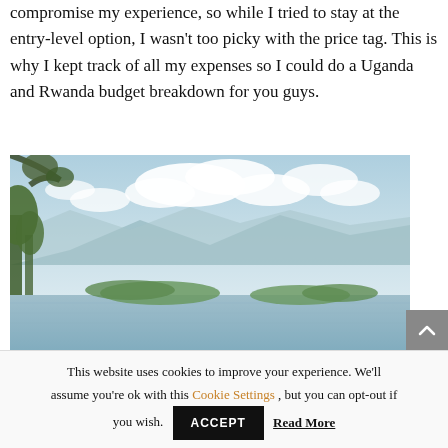compromise my experience, so while I tried to stay at the entry-level option, I wasn't too picky with the price tag. This is why I kept track of all my expenses so I could do a Uganda and Rwanda budget breakdown for you guys.
[Figure (photo): A scenic landscape photo showing a calm lake or water body with islands or landmasses in the background, green trees on the left, mountains in the distance, and a mostly blue sky with white clouds.]
This website uses cookies to improve your experience. We'll assume you're ok with this Cookie Settings , but you can opt-out if you wish. ACCEPT Read More